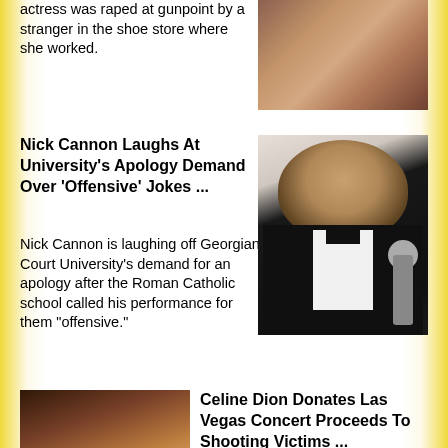actress was raped at gunpoint by a stranger in the shoe store where she worked.
[Figure (photo): Photo of a woman with long dark hair, partial view]
Nick Cannon Laughs At University's Apology Demand Over 'Offensive' Jokes ...
Nick Cannon is laughing off Georgian Court University's demand for an apology after the Roman Catholic school called his performance for them "offensive."
[Figure (photo): Photo of Nick Cannon in a black tuxedo holding a microphone]
[Figure (photo): Photo of Celine Dion performing on stage with a microphone]
Celine Dion Donates Las Vegas Concert Proceeds To Shooting Victims ...
Celine Dion returned to the Las Vegas stage and paid tribute to those affected by the mass shooting at the Route 91 Harvest Festival.